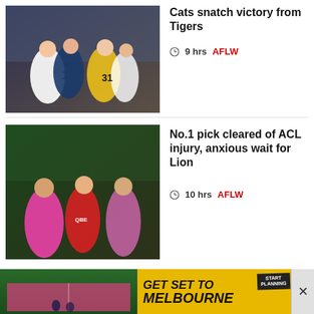[Figure (photo): Female AFL players in Geelong Cats and Richmond Tigers uniforms celebrating/competing]
Cats snatch victory from Tigers
9 hrs  AFLW
[Figure (photo): Female AFL player being helped off the field by two support staff, wearing Sydney Swans red uniform]
No.1 pick cleared of ACL injury, anxious wait for Lion
10 hrs  AFLW
ADVERTISEMENT
[Figure (photo): Advertisement image showing a rooftop bar/restaurant with city skyline views at night]
[Figure (photo): Advertisement banner: GET SET TO MELBOURNE - START PLANNING]